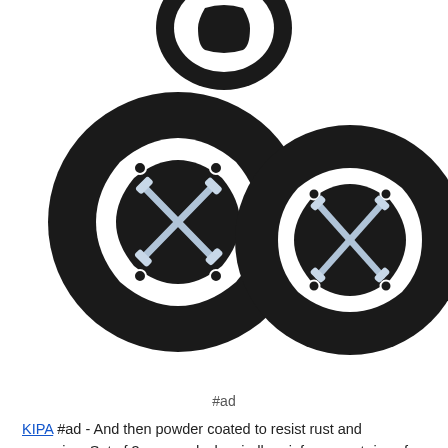[Figure (photo): Three black circular mower deck spindle reinforcement rings, each with four bolts arranged in an X pattern and mounting holes around the perimeter. Two complete rings visible in the lower portion, one partially visible at top center.]
#ad
KIPA #ad - And then powder coated to resist rust and corrosion. Set of 3 mower deck spindle reinforcement rings for 618-04636 618-04636A 618-04865A 918-04636A 918-04865A. Replaces mtd / cub cadet part numbers: 1909304, gw-b1740496, 1740496, 710-0601, 910-1260a, 1813498, gw-1909304, gw-7101260, gw-1740496, 7101260, 710-1260, HA-9131.